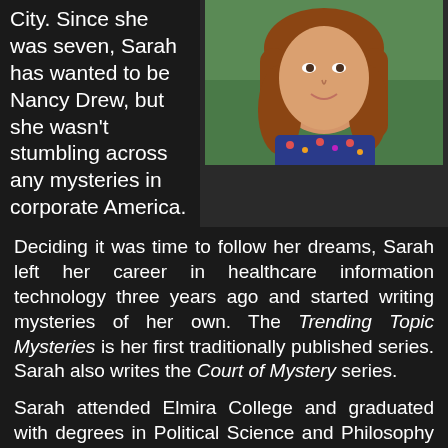City. Since she was seven, Sarah has wanted to be Nancy Drew, but she wasn't stumbling across any mysteries in corporate America.
[Figure (photo): Portrait photo of a young woman with long reddish-brown hair, wearing a floral print top, outdoors with green background.]
Deciding it was time to follow her dreams, Sarah left her career in healthcare information technology three years ago and started writing mysteries of her own. The Trending Topic Mysteries is her first traditionally published series. Sarah also writes the Court of Mystery series.
Sarah attended Elmira College and graduated with degrees in Political Science and Philosophy & Religious Studies. She loves to weave these themes into her writing. When she's not spinning up new stories, Ms. Burr is off seeing Broadway